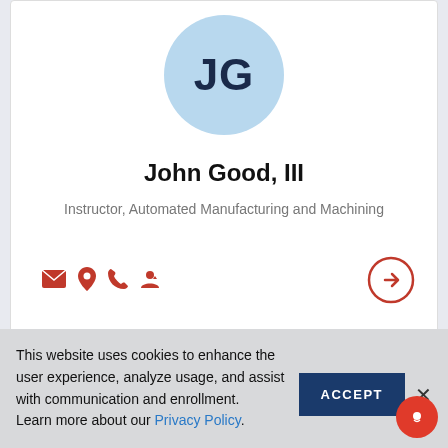[Figure (illustration): Avatar circle with initials JG in light blue for John Good III]
John Good, III
Instructor, Automated Manufacturing and Machining
[Figure (illustration): Contact icons: email, location, phone, person; and a circular arrow navigation button]
[Figure (illustration): Avatar circle with initials DH in light blue, partially visible second card]
This website uses cookies to enhance the user experience, analyze usage, and assist with communication and enrollment. Learn more about our Privacy Policy.